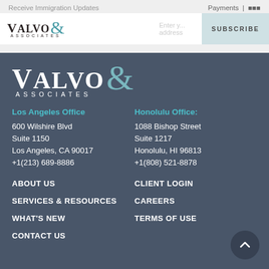Receive Immigration Updates | Payments | [icons]
[Figure (logo): Valvo & Associates law firm logo in header]
[Figure (logo): Valvo & Associates law firm logo large white version in footer]
Los Angeles Office
600 Wilshire Blvd
Suite 1150
Los Angeles, CA 90017
+1(213) 689-8886
Honolulu Office:
1088 Bishop Street
Suite 1217
Honolulu, HI 96813
+1(808) 521-8878
ABOUT US
SERVICES & RESOURCES
WHAT'S NEW
CONTACT US
CLIENT LOGIN
CAREERS
TERMS OF USE